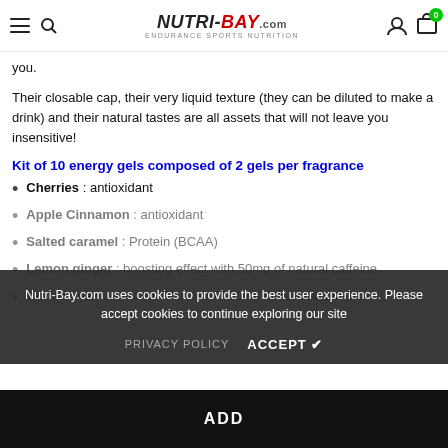NUTRI-BAY.com — Endurance Sports Nutrition — navigation header
you.
Their closable cap, their very liquid texture (they can be diluted to make a drink) and their natural tastes are all assets that will not leave you insensitive!
Kit of 10 energy gels composed of 2 gels per fragrance
Cherries : antioxidant
Apple Cinnamon : antioxidant
Salted caramel : Protein (BCAA)
Lemon ginger : boosting effect with 50mg of natural caffeine
Coffee : very boosting effect with 100mg of natural caffeine
Nutri-Bay.com uses cookies to provide the best user experience. Please accept cookies to continue exploring our site
PRIVACY POLICY   ACCEPT ✔
ADD